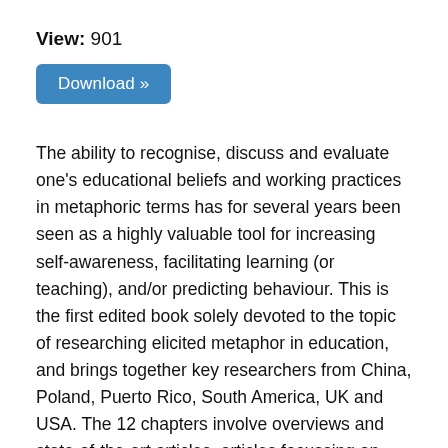View: 901
[Figure (other): Download button — a blue rounded rectangle with white text 'Download »']
The ability to recognise, discuss and evaluate one's educational beliefs and working practices in metaphoric terms has for several years been seen as a highly valuable tool for increasing self-awareness, facilitating learning (or teaching), and/or predicting behaviour. This is the first edited book solely devoted to the topic of researching elicited metaphor in education, and brings together key researchers from China, Poland, Puerto Rico, South America, UK and USA. The 12 chapters involve overviews and state-of-the-art articles, articles focussing on methodology and